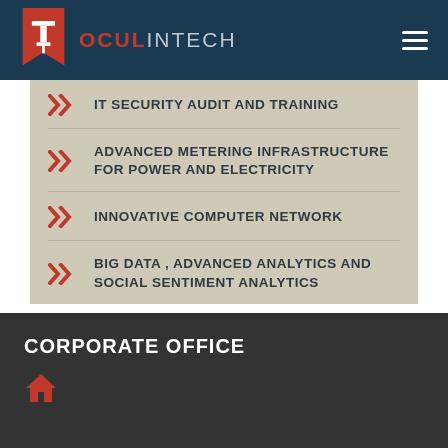OCULINTECH
IT SECURITY AUDIT AND TRAINING
ADVANCED METERING INFRASTRUCTURE FOR POWER AND ELECTRICITY
INNOVATIVE COMPUTER NETWORK
BIG DATA , ADVANCED ANALYTICS AND SOCIAL SENTIMENT ANALYTICS
CORPORATE OFFICE